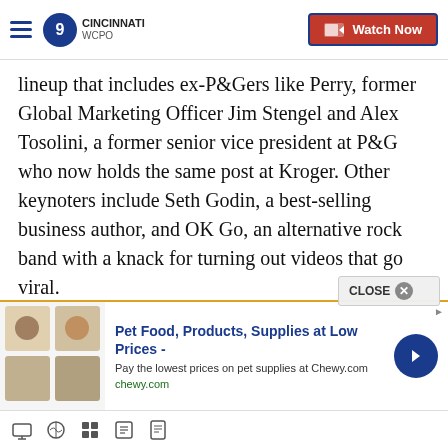WCPO 9 CINCINNATI — Watch Now
lineup that includes ex-P&Gers like Perry, former Global Marketing Officer Jim Stengel and Alex Tosolini, a former senior vice president at P&G who now holds the same post at Kroger. Other keynoters include Seth Godin, a best-selling business author, and OK Go, an alternative rock band with a knack for turning out videos that go viral.
“In the long run, its consistency and quality that’s going to win out,” Donabedian said. “I think our conference lineup, it’s stronger than I thought it wa
[Figure (screenshot): Advertisement banner: Pet Food, Products, Supplies at Low Prices - Pay the lowest prices on pet supplies at Chewy.com — chewy.com]
Browser toolbar with navigation icons